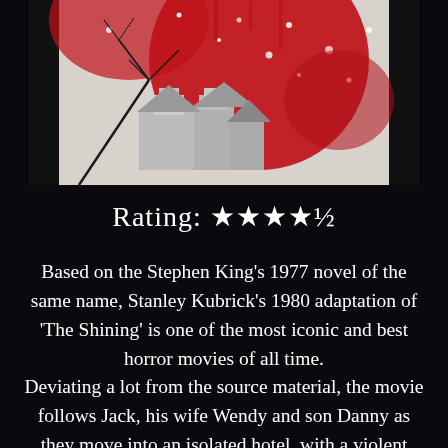[Figure (illustration): Book cover art for 'The Shining' — dark illustration featuring a haunted house/hotel in white against a dramatic red background with bare black tree branches, snow/dots, and a large red circular moon or sun. The overall palette is red, white, black, and dark grey.]
Rating: ★★★★½
Based on the Stephen King's 1977 novel of the same name, Stanley Kubrick's 1980 adaptation of 'The Shining' is one of the most iconic and best horror movies of all time. Deviating a lot from the source material, the movie follows Jack, his wife Wendy and son Danny as they move into an isolated hotel, with a violent past, for the winter. Living in isolation,